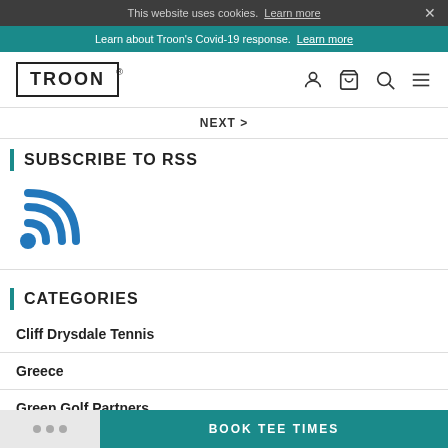This website uses cookies. Learn more ×
Learn about Troon's Covid-19 response. Learn more
TROON®
NEXT >
SUBSCRIBE TO RSS
[Figure (illustration): Blue RSS feed icon]
CATEGORIES
Cliff Drysdale Tennis
Greece
Green Golf Partners
BOOK TEE TIMES